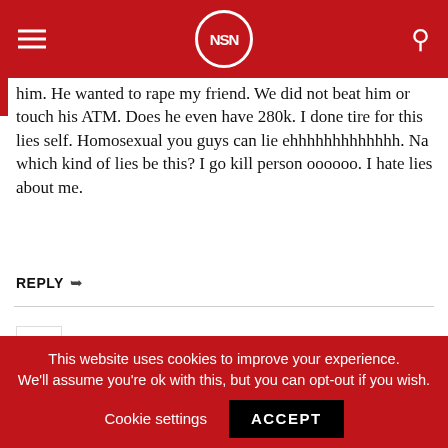NSN NoStringsNG
him. He wanted to rape my friend. We did not beat him or touch his ATM. Does he even have 280k. I done tire for this lies self. Homosexual you guys can lie ehhhhhhhhhhh. Na which kind of lies be this? I go kill person oooooo. I hate lies about me.
REPLY
NoStringsNG  6 years
Kindly return back the cash that you collected. It will do you a lot of good. Having your information on here has exposed you and serve as a criminal record for you. You have been doing this for long,
This website uses cookies to improve your experience. We'll assume you're ok with this, but you can opt-out if you wish.  Cookie settings  ACCEPT